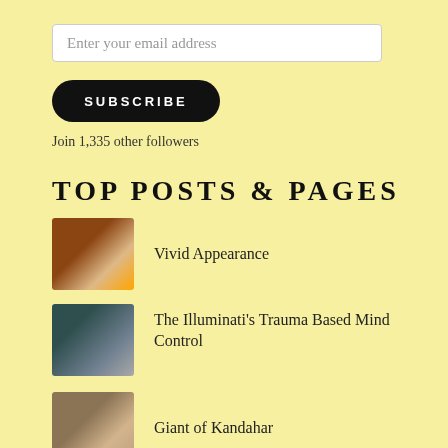Enter your email address
SUBSCRIBE
Join 1,335 other followers
TOP POSTS & PAGES
Vivid Appearance
The Illuminati's Trauma Based Mind Control
Giant of Kandahar
Earth Thriving
Scary Building Style